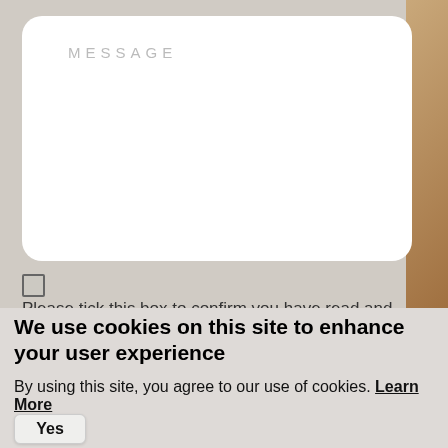[Figure (screenshot): A message text area input field with rounded corners on a gray background, containing the label 'MESSAGE' in light gray spaced letters.]
Please tick this box to confirm you have read and understood our privacy statement.
[Figure (screenshot): reCAPTCHA widget with checkbox and 'I'm not a robot' text and reCAPTCHA logo.]
We use cookies on this site to enhance your user experience
By using this site, you agree to our use of cookies. Learn More
Yes